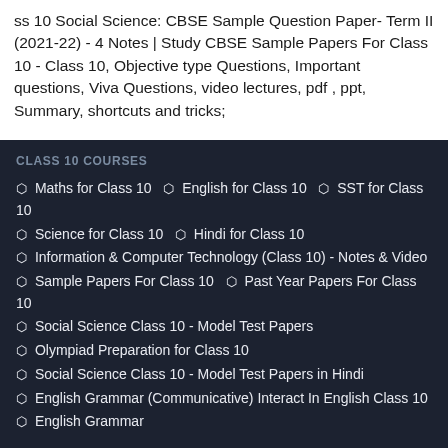ss 10 Social Science: CBSE Sample Question Paper- Term II (2021-22) - 4 Notes | Study CBSE Sample Papers For Class 10 - Class 10, Objective type Questions, Important questions, Viva Questions, video lectures, pdf , ppt, Summary, shortcuts and tricks;
CLASS 10 COURSES
⬡ Maths for Class 10  ⬡ English for Class 10  ⬡ SST for Class 10
⬡ Science for Class 10  ⬡ Hindi for Class 10
⬡ Information & Computer Technology (Class 10) - Notes & Video
⬡ Sample Papers For Class 10  ⬡ Past Year Papers For Class 10
⬡ Social Science Class 10 - Model Test Papers
⬡ Olympiad Preparation for Class 10
⬡ Social Science Class 10 - Model Test Papers in Hindi
⬡ English Grammar (Communicative) Interact In English Class 10
⬡ English Grammar
NCERT TEXTBOOK & SOLUTIONS